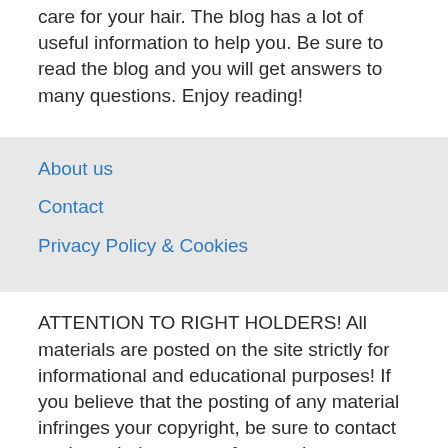care for your hair. The blog has a lot of useful information to help you. Be sure to read the blog and you will get answers to many questions. Enjoy reading!
About us
Contact
Privacy Policy & Cookies
ATTENTION TO RIGHT HOLDERS! All materials are posted on the site strictly for informational and educational purposes! If you believe that the posting of any material infringes your copyright, be sure to contact us through the contact form and your